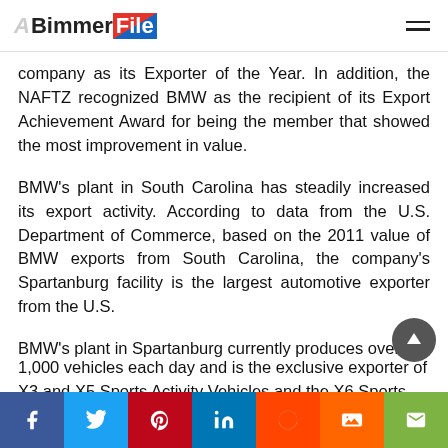BimmerFile
company as its Exporter of the Year. In addition, the NAFTZ recognized BMW as the recipient of its Export Achievement Award for being the member that showed the most improvement in value.
BMW's plant in South Carolina has steadily increased its export activity. According to data from the U.S. Department of Commerce, based on the 2011 value of BMW exports from South Carolina, the company's Spartanburg facility is the largest automotive exporter from the U.S.
BMW's plant in Spartanburg currently produces over 1,000 vehicles each day and is the exclusive exporter of X3 and X5 Sports Activity Vehicles and the X6 Sports